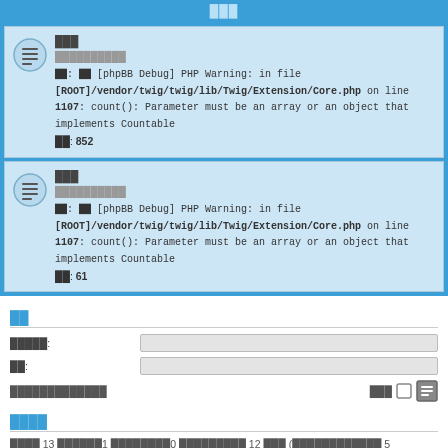███
███
██████████
██: ██ [phpBB Debug] PHP Warning: in file [ROOT]/vendor/twig/twig/lib/Twig/Extension/Core.php on line 1107: count(): Parameter must be an array or an object that implements Countable
██: 852
███
██████████
██: ██ [phpBB Debug] PHP Warning: in file [ROOT]/vendor/twig/twig/lib/Twig/Extension/Core.php on line 1107: count(): Parameter must be an array or an object that implements Countable
██: 61
██
█████:
██:
█████████████
████
████ 13 ██████1 ████████0 █████████ 12 ███ (████████████ 5 ████████████████)
█████████████ 224 █ [███████2007-10-02, 10:51]
██████ Bing [Bot]
████: ████████